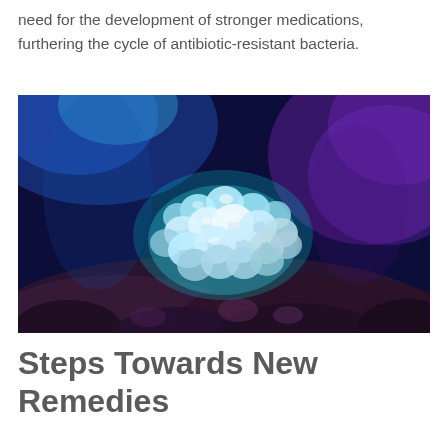need for the development of stronger medications, furthering the cycle of antibiotic-resistant bacteria.
[Figure (photo): Close-up photograph of a glowing teal/cyan bubble coral under blue ultraviolet lighting, surrounded by purple and dark blue reef rock.]
Steps Towards New Remedies